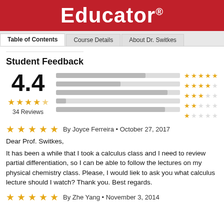Educator®
Student Feedback
[Figure (infographic): Rating summary showing 4.4 out of 5 stars with 34 Reviews, horizontal bar chart of star distribution (5 to 1 stars), and star ratings on the right]
★★★★★  By Joyce Ferreira • October 27, 2017
Dear Prof. Switkes,
It has been a while that I took a calculus class and I need to review partial differentiation, so I can be able to follow the lectures on my physical chemistry class. Please, I would liek to ask you what calculus lecture should I watch? Thank you. Best regards.
★★★★★  By Zhe Yang • November 3, 2014